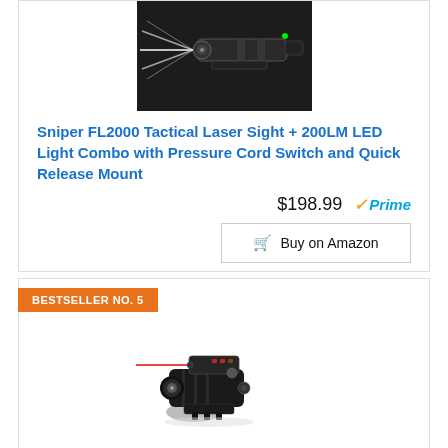[Figure (photo): Sniper FL2000 Tactical Laser Sight with LED light, showing beams emitting from the device against dark background]
Sniper FL2000 Tactical Laser Sight + 200LM LED Light Combo with Pressure Cord Switch and Quick Release Mount
$198.99 ✓Prime
Buy on Amazon
BESTSELLER NO. 5
[Figure (photo): Tactical gun laser sight and flashlight combo device, black, with red laser beam visible, mounted on rail]